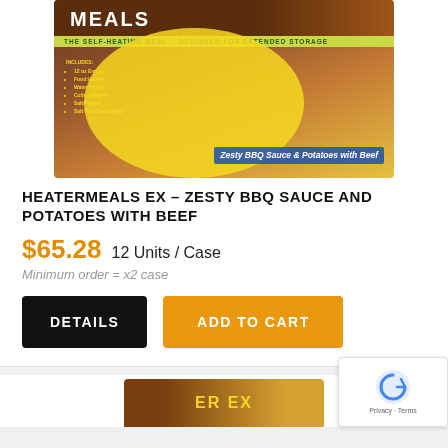[Figure (photo): HeaterMeals EX product box showing Zesty BBQ Sauce and Potatoes with Beef self-heating meal package]
HEATERMEALS EX - ZESTY BBQ SAUCE AND POTATOES WITH BEEF
$65.28  12 Units / Case
Minimum order = x2 case
DETAILS
ADD TO CART
[Figure (photo): Bottom portion of another HeaterMeals product card partially visible]